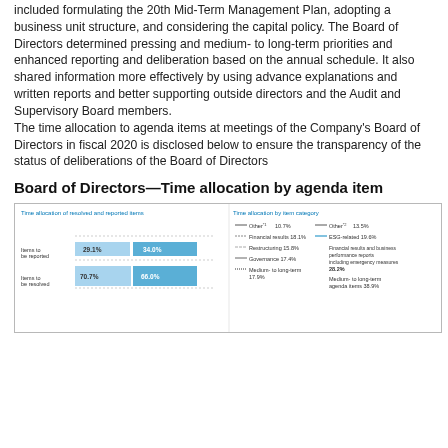included formulating the 20th Mid-Term Management Plan, adopting a business unit structure, and considering the capital policy. The Board of Directors determined pressing and medium- to long-term priorities and enhanced reporting and deliberation based on the annual schedule. It also shared information more effectively by using advance explanations and written reports and better supporting outside directors and the Audit and Supervisory Board members. The time allocation to agenda items at meetings of the Company's Board of Directors in fiscal 2020 is disclosed below to ensure the transparency of the status of deliberations of the Board of Directors
Board of Directors—Time allocation by agenda item
[Figure (bar-chart): Horizontal stacked bar chart showing time allocation. Items to be reported: 29.1% and 34.0%. Items to be resolved: 70.7% and 66.0%.]
[Figure (stacked-bar-chart): Stacked bar chart with categories: Other 10.7%, Financial results 18.1%, Restructuring 15.8%, Governance 17.4%, Medium- to long-term 17.9% on left; Other 13.5%, ESG-related 19.6%, Financial results and business performance reports 28.2%, Medium- to long-term agenda items 38.9% on right.]